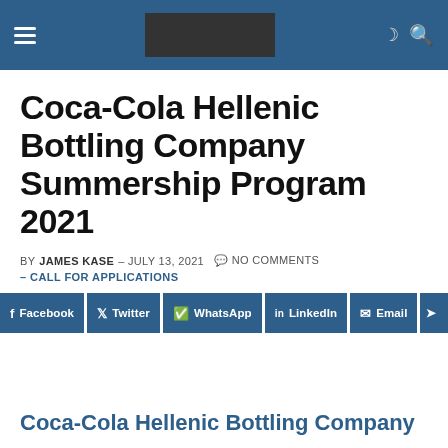Navigation bar with hamburger menu, logo placeholder, moon icon, and search icon
Coca-Cola Hellenic Bottling Company Summership Program 2021
BY JAMES KASE – JULY 13, 2021  NO COMMENTS
– CALL FOR APPLICATIONS
[Figure (infographic): Social share buttons: Facebook, Twitter, WhatsApp, LinkedIn, Email, and a partial arrow/share button]
Coca-Cola Hellenic Bottling Company